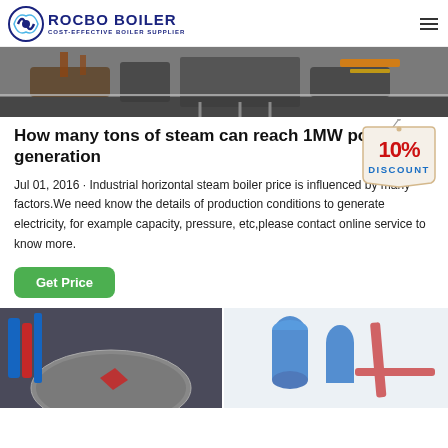ROCBO BOILER - COST-EFFECTIVE BOILER SUPPLIER
[Figure (photo): Industrial boiler equipment room, overhead view of machinery and pipes]
How many tons of steam can reach 1MW power generation
Jul 01, 2016 · Industrial horizontal steam boiler price is influenced by many factors.We need know the details of production conditions to generate electricity, for example capacity, pressure, etc,please contact online service to know more.
[Figure (infographic): 10% DISCOUNT badge/tag graphic]
[Figure (photo): Industrial boiler equipment close-up with pipes, two side-by-side photos]